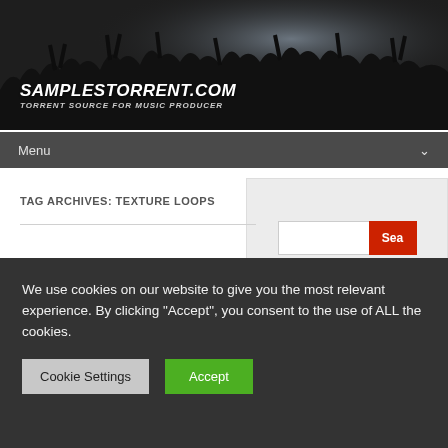[Figure (photo): Concert crowd silhouette banner with site name SAMPLESTORRENT.COM and tagline TORRENT SOURCE FOR MUSIC PRODUCER]
Menu
TAG ARCHIVES: TEXTURE LOOPS
[Figure (screenshot): Search widget with text input and red Search button]
We use cookies on our website to give you the most relevant experience. By clicking "Accept", you consent to the use of ALL the cookies.
Cookie Settings   Accept